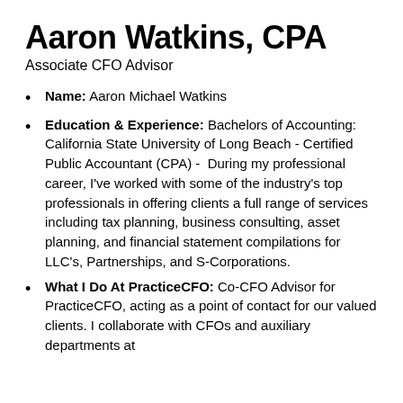Aaron Watkins, CPA
Associate CFO Advisor
Name: Aaron Michael Watkins
Education & Experience: Bachelors of Accounting: California State University of Long Beach - Certified Public Accountant (CPA) -  During my professional career, I've worked with some of the industry's top professionals in offering clients a full range of services including tax planning, business consulting, asset planning, and financial statement compilations for LLC's, Partnerships, and S-Corporations.
What I Do At PracticeCFO: Co-CFO Advisor for PracticeCFO, acting as a point of contact for our valued clients. I collaborate with CFOs and auxiliary departments at